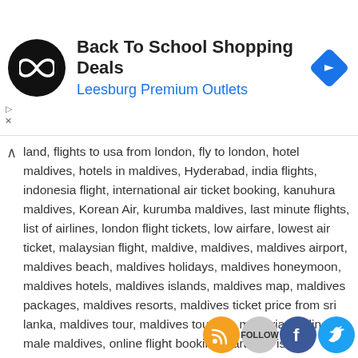[Figure (advertisement): Ad banner for Back To School Shopping Deals at Leesburg Premium Outlets, with circular logo and blue arrow icon]
land, flights to usa from london, fly to london, hotel maldives, hotels in maldives, Hyderabad, india flights, indonesia flight, international air ticket booking, kanuhura maldives, Korean Air, kurumba maldives, last minute flights, list of airlines, london flight tickets, low airfare, lowest air ticket, malaysian flight, maldive, maldives, maldives airport, maldives beach, maldives holidays, maldives honeymoon, maldives hotels, maldives islands, maldives map, maldives packages, maldives resorts, maldives ticket price from sri lanka, maldives tour, maldives tourism, maldivian airlines, male maldives, online flight booking, paradise island maldives, paradise island resort maldives, paris airline tickets, philippines flights, plane tickets, singapore flights, special offer, sri lanka air, sri lanka flights, sri lankan air line, sri lankan airways, srilankan air line, srilankan airline, srilankan airlines, srilankan airways, sun island maldives, sun island resort maldives, taj exotica maldives, the maldives, tickets to paris, tickets to paris france, TNT & Mountain Hawk Express, trip to maldives, trip to paris, vietna… t… a… es com
Leave a comment